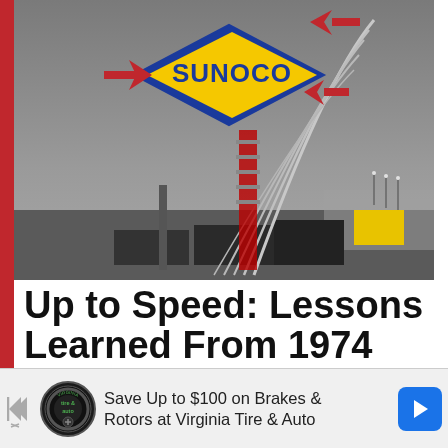[Figure (photo): Sunoco logo sign at a NASCAR racetrack with metal arch structures in the background under a grey overcast sky. The Sunoco diamond logo is yellow with red arrows on left and right sides.]
Up to Speed: Lessons Learned From 1974 That Could Shape NASCAR COVID-19
[Figure (infographic): Advertisement banner for Virginia Tire & Auto. Text reads: Save Up to $100 on Brakes & Rotors at Virginia Tire & Auto. Shows tire & auto logo and Google Maps navigation icon. Has a close X button.]